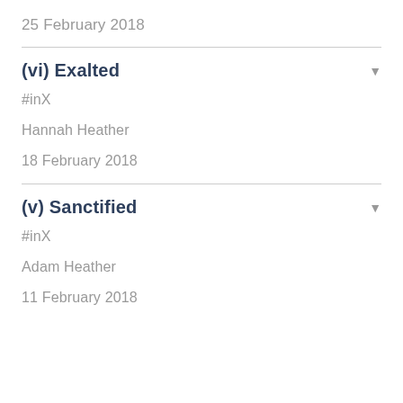25 February 2018
(vi) Exalted
#inX
Hannah Heather
18 February 2018
(v) Sanctified
#inX
Adam Heather
11 February 2018